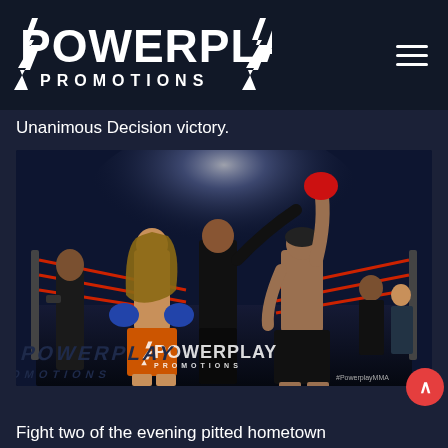[Figure (logo): PowerPlay Promotions logo in white text on dark navy background, with stylized lightning bolt shapes]
Unanimous Decision victory.
[Figure (photo): Boxing match victory photo showing a referee raising the winner's hand in a boxing ring. The winner is on the right with a red glove raised overhead. The other fighter stands on the left wearing orange shorts and blue gloves. A PowerPlay Promotions watermark logo appears on the canvas floor. The arena is lit with bright overhead lights against a dark background.]
Fight two of the evening pitted hometown